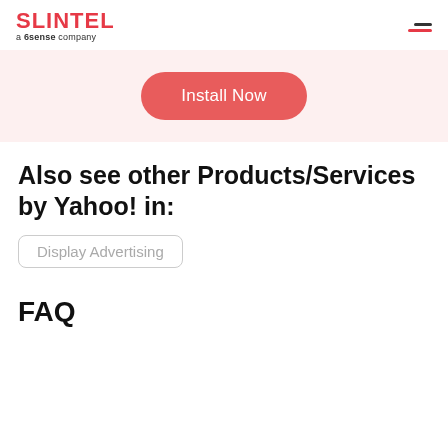SLINTEL a 6sense company
[Figure (screenshot): Pink/light red banner section with an 'Install Now' rounded button in coral/red color]
Also see other Products/Services by Yahoo! in:
Display Advertising
FAQ